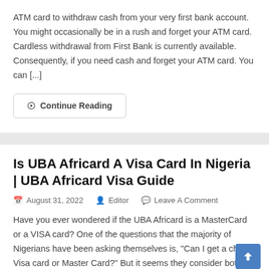ATM card to withdraw cash from your very first bank account. You might occasionally be in a rush and forget your ATM card. Cardless withdrawal from First Bank is currently available. Consequently, if you need cash and forget your ATM card. You can [...]
Continue Reading
Is UBA Africard A Visa Card In Nigeria | UBA Africard Visa Guide
August 31, 2022   Editor   Leave A Comment
Have you ever wondered if the UBA Africard is a MasterCard or a VISA card? One of the questions that the majority of Nigerians have been asking themselves is, "Can I get a cheap Visa card or Master Card?" But it seems they consider both...